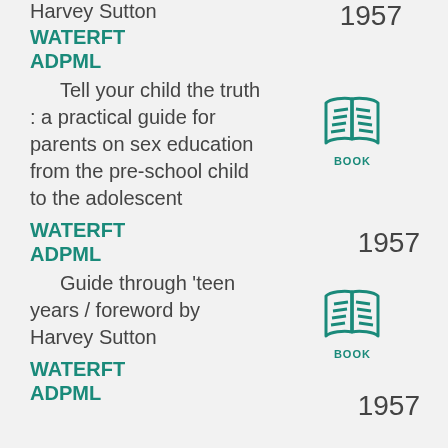Harvey Sutton
1957
WATERFT
ADPML
Tell your child the truth : a practical guide for parents on sex education from the pre-school child to the adolescent
[Figure (illustration): Book icon with teal color and label BOOK]
1957
WATERFT
ADPML
Guide through 'teen years / foreword by Harvey Sutton
[Figure (illustration): Book icon with teal color and label BOOK]
1957
WATERFT
ADPML